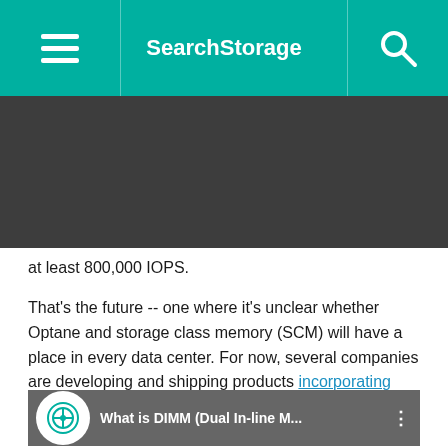SearchStorage
at least 800,000 IOPS.
That's the future -- one where it's unclear whether Optane and storage class memory (SCM) will have a place in every data center. For now, several companies are developing and shipping products incorporating Optane SSDs and memory for customers with high-performance requirements. What follows is a look at some of the Optane-based products that were in the works and launched in 2019.
[Figure (screenshot): Video thumbnail showing a man with text 'What is DIMM (Dual In-line M...' and a TechTarget eye logo icon]